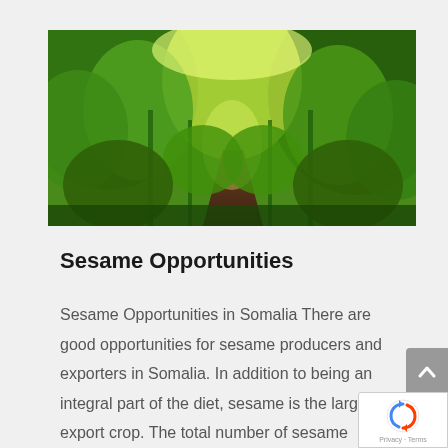[Figure (photo): A lush green sesame field photographed from a low angle looking down a row, with tall green plants on both sides and bright sunlight filtering through the canopy.]
Sesame Opportunities
Sesame Opportunities in Somalia There are good opportunities for sesame producers and exporters in Somalia. In addition to being an integral part of the diet, sesame is the largest export crop. The total number of sesame farmers in the country is estimated